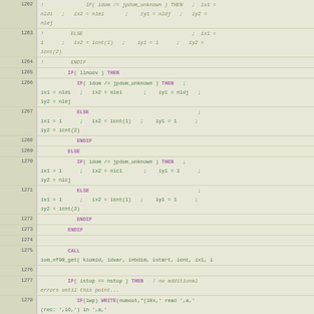Source code listing lines 1262-1280, Fortran-style code with IF/ELSE/ENDIF/CALL constructs
[Figure (screenshot): Fortran source code viewer showing lines 1262-1280 with line numbers in left gutter on beige background, code with green variable assignments and purple keywords]